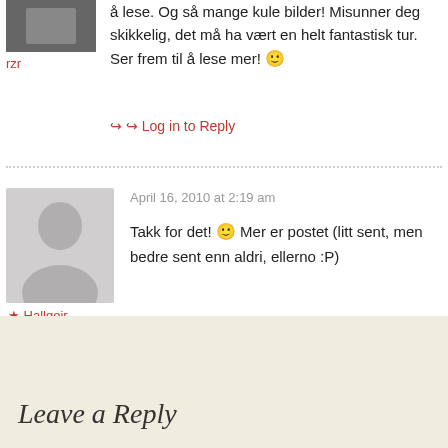[Figure (photo): Small avatar photo of user rzr, partially visible at top left]
rzr
å lese. Og så mange kule bilder! Misunner deg skikkelig, det må ha vært en helt fantastisk tur. Ser frem til å lese mer! 🙂
↪ Log in to Reply
[Figure (illustration): Grey silhouette avatar placeholder for user Hallgeir]
★ Hallgeir
April 16, 2010 at 2:19 am
Takk for det! 🙂 Mer er postet (litt sent, men bedre sent enn aldri, ellerno :P)
↪ Log in to Reply
Leave a Reply